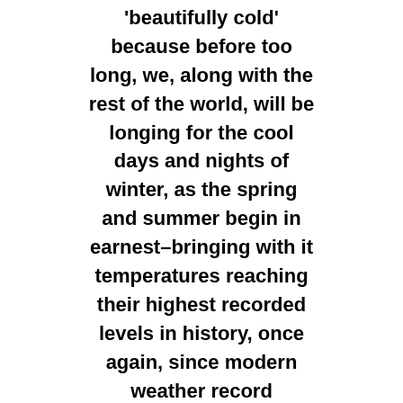'beautifully cold' because before too long, we, along with the rest of the world, will be longing for the cool days and nights of winter, as the spring and summer begin in earnest–bringing with it temperatures reaching their highest recorded levels in history, once again, since modern weather record keeping began in the late nineteenth century. The past ten years have been the hottest